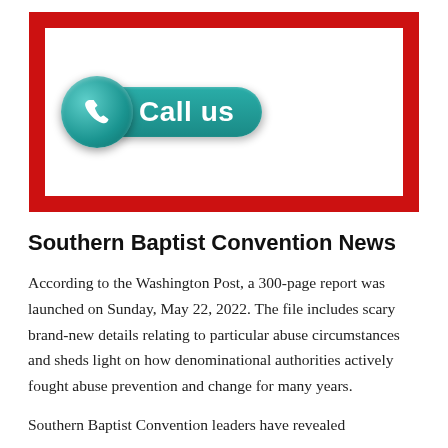[Figure (illustration): A 'Call us' button graphic with a teal phone circle icon on the left and a teal rounded pill shape containing the text 'Call us' in white, all on a red bordered white background box.]
Southern Baptist Convention News
According to the Washington Post, a 300-page report was launched on Sunday, May 22, 2022. The file includes scary brand-new details relating to particular abuse circumstances and sheds light on how denominational authorities actively fought abuse prevention and change for many years.
Southern Baptist Convention leaders have revealed